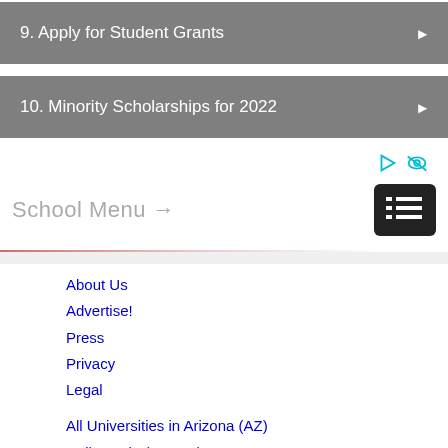9. Apply for Student Grants
10. Minority Scholarships for 2022
School Menu →
About Us
Advertise!
Press
Privacy
Legal
All Universities in Arizona (AZ)
Colleges in (or near) Tempe
Lists of Rankings by State
College Search
College Rankings